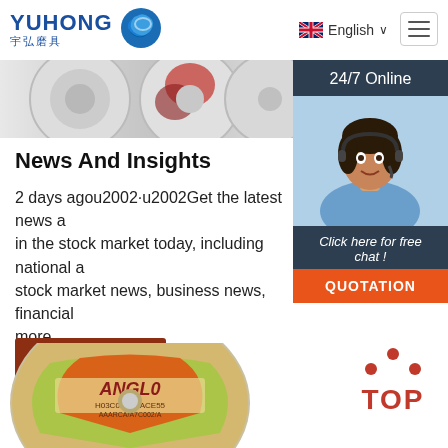[Figure (logo): YUHONG 宇弘磨具 logo with blue wave/circle icon]
English ∨
[Figure (photo): Abrasive cutting discs partially visible banner strip]
[Figure (photo): 24/7 Online customer service representative with headset]
News And Insights
2 days agou2002·u2002Get the latest news and in the stock market today, including national and stock market news, business news, financial more
Get Price
Click here for free chat !
QUOTATION
[Figure (photo): ANGLO abrasive grinding disc at bottom of page]
[Figure (logo): TOP badge with red dots]